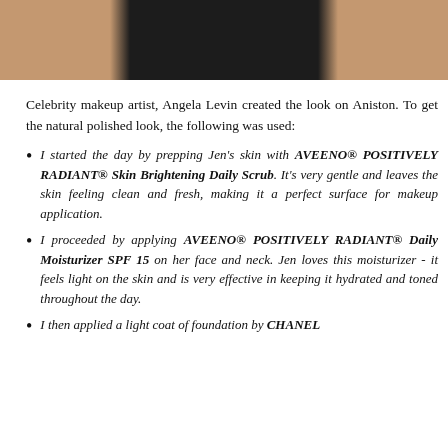[Figure (photo): Cropped photo of a person wearing a dark/black top, showing shoulders and upper torso with skin visible on sides, against a dark background.]
Celebrity makeup artist, Angela Levin created the look on Aniston. To get the natural polished look, the following was used:
I started the day by prepping Jen’s skin with AVEENO® POSITIVELY RADIANT® Skin Brightening Daily Scrub. It’s very gentle and leaves the skin feeling clean and fresh, making it a perfect surface for makeup application.
I proceeded by applying AVEENO® POSITIVELY RADIANT® Daily Moisturizer SPF 15 on her face and neck. Jen loves this moisturizer - it feels light on the skin and is very effective in keeping it hydrated and toned throughout the day.
I then applied a light coat of foundation by CHANEL Perfection Lumiere Velvet...